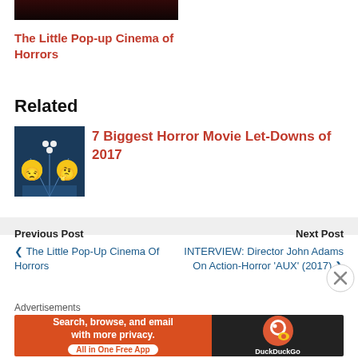[Figure (photo): Partial top of a dark horror movie image]
The Little Pop-up Cinema of Horrors
Related
[Figure (illustration): Thumbnail for 7 Biggest Horror Movie Let-Downs of 2017, showing a bowling alley scene with emoji faces]
7 Biggest Horror Movie Let-Downs of 2017
Previous Post
❮ The Little Pop-Up Cinema Of Horrors
Next Post
INTERVIEW: Director John Adams On Action-Horror 'AUX' (2017) ❯
Advertisements
[Figure (other): DuckDuckGo advertisement banner: Search, browse, and email with more privacy. All in One Free App]